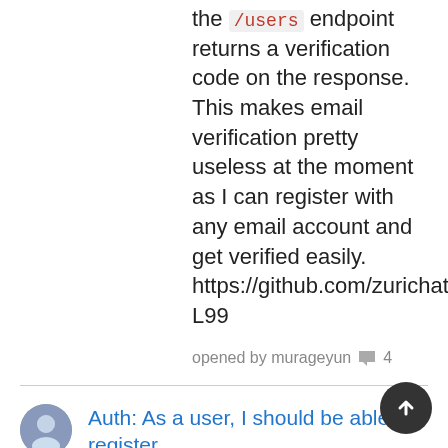the /users endpoint returns a verification code on the response. This makes email verification pretty useless at the moment as I can register with any email account and get verified easily. https://github.com/zurichat/zc_core/blob/6d57d932a43d253c6bd46f308a1f669d416e3de5/user/user.go#L97-L99
opened by murageyun 💬 4
Auth: As a user, I should be able to register
PR - https://github.com/zurichat/zc_